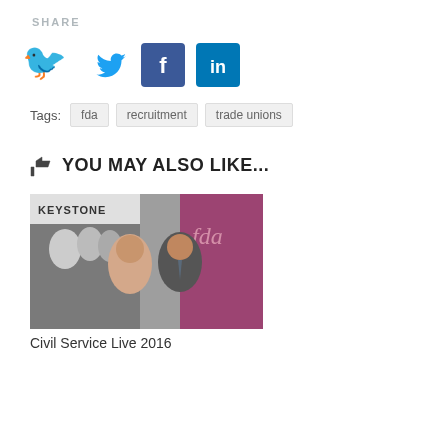SHARE
[Figure (infographic): Social share icons: Twitter (blue bird), Facebook (blue square with f), LinkedIn (blue square with in)]
Tags:  fda   recruitment   trade unions
YOU MAY ALSO LIKE...
[Figure (photo): Two people posing in front of Keystone and FDA banners at Civil Service Live 2016 event]
Civil Service Live 2016